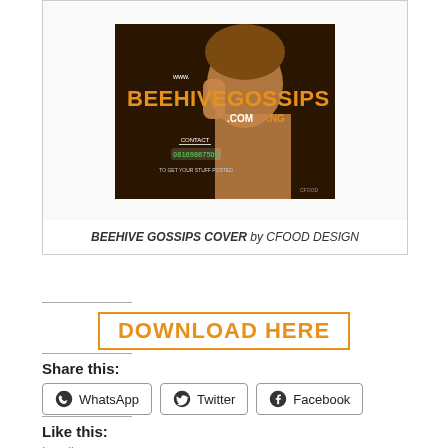[Figure (illustration): Beehive Gossips cover image by CFOOD DESIGN — dark brown background with orange bold text 'BEEHIVEGOSSIPS' and '.COM.NG', with contact phone number and branding]
BEEHIVE GOSSIPS COVER by CFOOD DESIGN
DOWNLOAD HERE
Share this:
WhatsApp
Twitter
Facebook
Like this:
Loading...